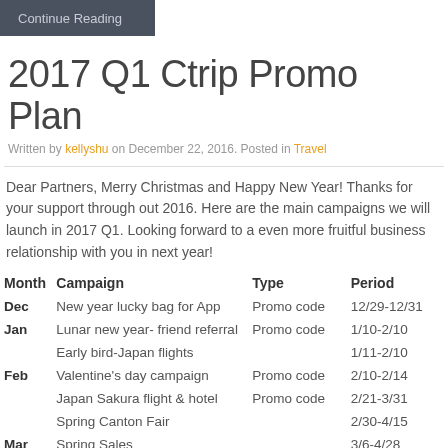Continue Reading
2017 Q1 Ctrip Promo Plan
Written by kellyshu on December 22, 2016. Posted in Travel
Dear Partners, Merry Christmas and Happy New Year! Thanks for your support through out 2016. Here are the main campaigns we will launch in 2017 Q1. Looking forward to a even more fruitful business relationship with you in next year!
| Month | Campaign | Type | Period |
| --- | --- | --- | --- |
| Dec | New year lucky bag for App | Promo code | 12/29-12/31 |
| Jan | Lunar new year- friend referral | Promo code | 1/10-2/10 |
|  | Early bird-Japan flights |  | 1/11-2/10 |
| Feb | Valentine's day campaign | Promo code | 2/10-2/14 |
|  | Japan Sakura flight & hotel | Promo code | 2/21-3/31 |
|  | Spring Canton Fair |  | 2/30-4/15 |
| Mar | Spring Sales |  | 3/6-4/28 |
|  | Earth Kyusyu… | Promo code | 3/8-4/7 |